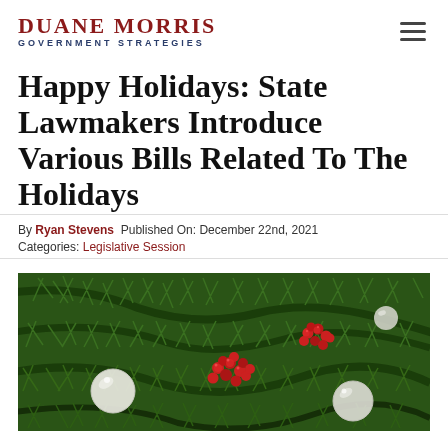DUANE MORRIS GOVERNMENT STRATEGIES
Happy Holidays: State Lawmakers Introduce Various Bills Related To The Holidays
By Ryan Stevens  Published On: December 22nd, 2021
Categories: Legislative Session
[Figure (photo): Close-up photograph of green pine/fir branches with white round ornaments and clusters of red berries arranged decoratively as a holiday decoration.]